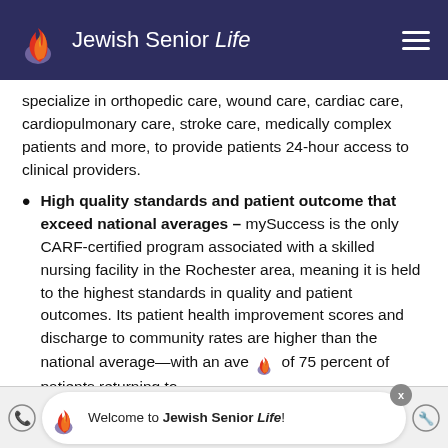Jewish Senior Life
specialize in orthopedic care, wound care, cardiac care, cardiopulmonary care, stroke care, medically complex patients and more, to provide patients 24-hour access to clinical providers.
High quality standards and patient outcome that exceed national averages – mySuccess is the only CARF-certified program associated with a skilled nursing facility in the Rochester area, meaning it is held to the highest standards in quality and patient outcomes. Its patient health improvement scores and discharge to community rates are higher than the national average—with an ave... of 75 percent of patients returning to
Welcome to Jewish Senior Life!